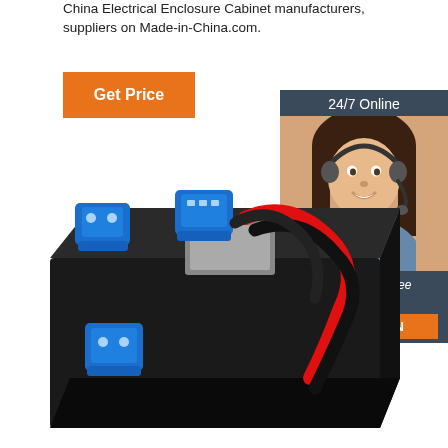China Electrical Enclosure Cabinet manufacturers, suppliers on Made-in-China.com.
[Figure (other): Orange 'Get Price' button]
[Figure (photo): 24/7 Online chat panel with smiling female customer service agent wearing headset, and orange QUOTATION button. Text: '24/7 Online', 'Click here for free chat !', 'QUOTATION']
[Figure (photo): Photo of a black rectangular electrical enclosure/battery box with blue Anderson-style connectors and red and black cables on top]